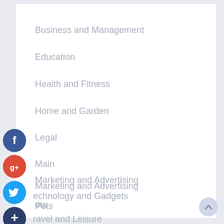Business and Management
Education
Health and Fitness
Home and Garden
Legal
Main
Marketing and Advertising
Pets
Technology and Gadgets
Travel and Leisure
[Figure (illustration): Social media share buttons: Facebook (blue circle with f), Google+ (red circle with g+), Twitter (blue circle with bird icon), and a dark blue plus button. A scroll-to-top button appears in the bottom right.]